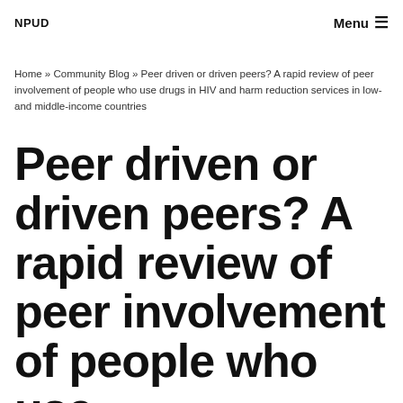NPUD | Menu
Home » Community Blog » Peer driven or driven peers? A rapid review of peer involvement of people who use drugs in HIV and harm reduction services in low- and middle-income countries
Peer driven or driven peers? A rapid review of peer involvement of people who use